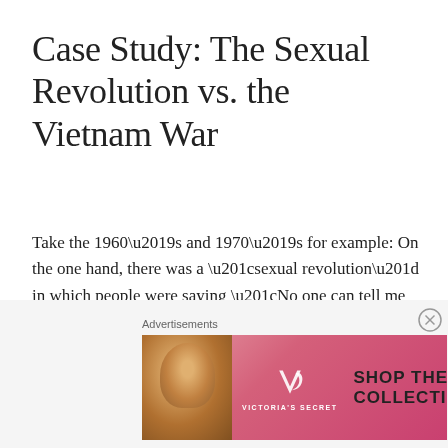Case Study: The Sexual Revolution vs. the Vietnam War
Take the 1960’s and 1970’s for example: On the one hand, there was a “sexual revolution” in which people were saying “No one can tell me what to do with my body, don’t try to impose your moral standards on me.” And yet, those same people protested the Vietnam War by saying that it was unjust and immoral because of the use of bombs and napalm.
[Figure (other): Advertisement banner for Victoria's Secret showing a model on the left, Victoria's Secret logo in the center-left, and text 'SHOP THE COLLECTION' with a 'SHOP NOW' button on the right, on a pink background.]